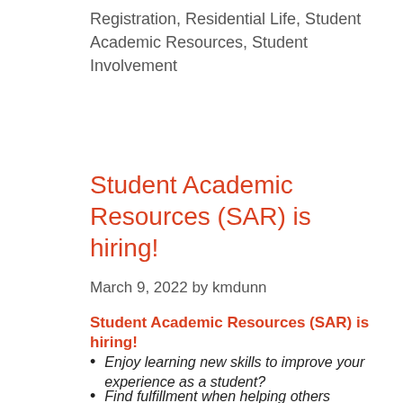Registration, Residential Life, Student Academic Resources, Student Involvement
Student Academic Resources (SAR) is hiring!
March 9, 2022 by kmdunn
Student Academic Resources (SAR) is hiring!
Enjoy learning new skills to improve your experience as a student?
Find fulfillment when helping others